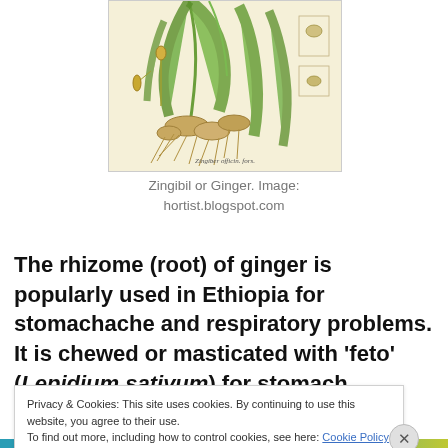[Figure (illustration): Botanical illustration of Zingibil or Ginger plant showing rhizomes, leaves, flowers and detail drawings on a cream/yellow background. Caption text at bottom: 'Zingiber officin. fors.']
Zingibil or Ginger. Image: hortist.blogspot.com
The rhizome (root) of ginger is popularly used in Ethiopia for stomachache and respiratory problems. It is chewed or masticated with ‘feto’ (Lepidium sativum) for stomach
Privacy & Cookies: This site uses cookies. By continuing to use this website, you agree to their use.
To find out more, including how to control cookies, see here: Cookie Policy
Close and accept